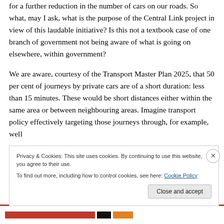for a further reduction in the number of cars on our roads. So what, may I ask, what is the purpose of the Central Link project in view of this laudable initiative? Is this not a textbook case of one branch of government not being aware of what is going on elsewhere, within government?
We are aware, courtesy of the Transport Master Plan 2025, that 50 per cent of journeys by private cars are of a short duration: less than 15 minutes. These would be short distances either within the same area or between neighbouring areas. Imagine transport policy effectively targeting those journeys through, for example, well
Privacy & Cookies: This site uses cookies. By continuing to use this website, you agree to their use.
To find out more, including how to control cookies, see here: Cookie Policy
Close and accept